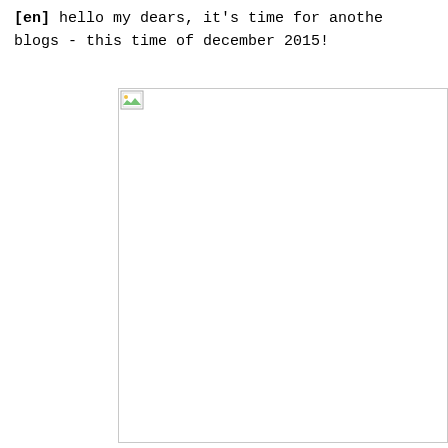[en] hello my dears, it's time for another blogs - this time of december 2015!
[Figure (photo): A broken/missing image placeholder with a small image icon in the top-left corner, shown as a rectangular box with a light gray border against a white background.]